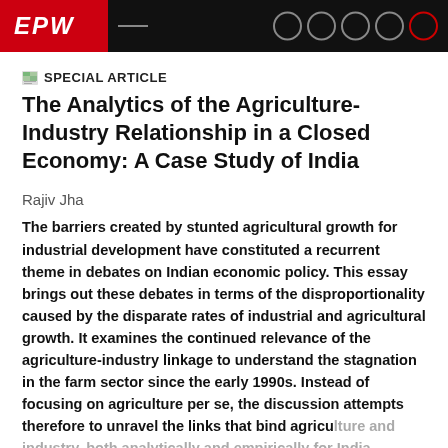EPW
SPECIAL ARTICLE
The Analytics of the Agriculture-Industry Relationship in a Closed Economy: A Case Study of India
Rajiv Jha
The barriers created by stunted agricultural growth for industrial development have constituted a recurrent theme in debates on Indian economic policy. This essay brings out these debates in terms of the disproportionality caused by the disparate rates of industrial and agricultural growth. It examines the continued relevance of the agriculture-industry linkage to understand the stagnation in the farm sector since the early 1990s. Instead of focusing on agriculture per se, the discussion attempts therefore to unravel the links that bind agriculture and industry, both analytically and empirically for India.